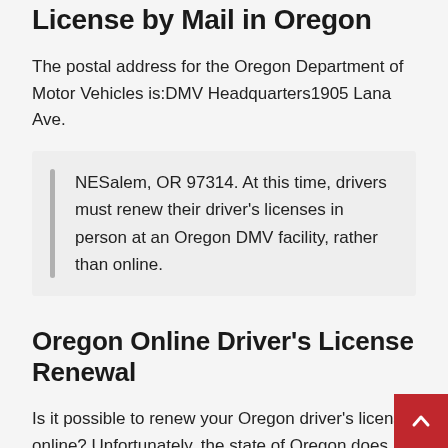License by Mail in Oregon
The postal address for the Oregon Department of Motor Vehicles is:DMV Headquarters1905 Lana Ave.
NESalem, OR 97314. At this time, drivers must renew their driver’s licenses in person at an Oregon DMV facility, rather than online.
Oregon Online Driver’s License Renewal
Is it possible to renew your Oregon driver’s license online? Unfortunately, the state of Oregon does not provide an online gateway for the renewal of their driver’s